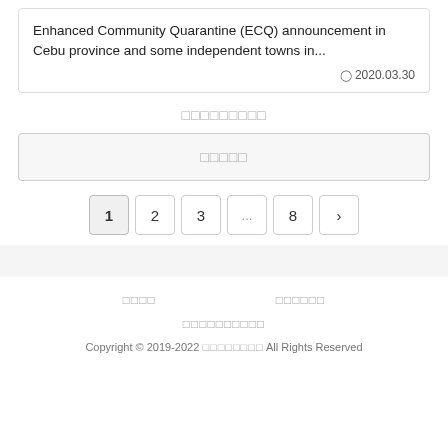Enhanced Community Quarantine (ECQ) announcement in Cebu province and some independent towns in...
2020.03.30
□□□□□□□□□
□□□□□
1  2  3  ...  8  ›
□□□□
□□□□□□
□□□□□□□□□□
Copyright © 2019-2022 □□□□□□□□ All Rights Reserved